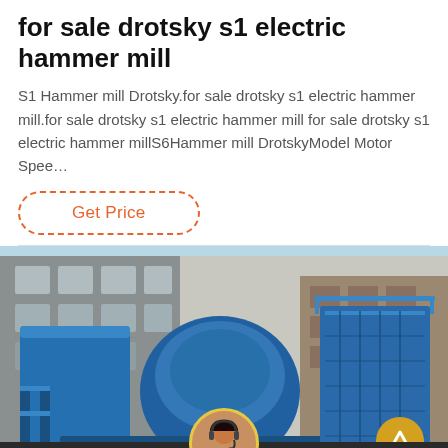for sale drotsky s1 electric hammer mill
S1 Hammer mill Drotsky.for sale drotsky s1 electric hammer mill.for sale drotsky s1 electric hammer mill for sale drotsky s1 electric hammer millS6Hammer mill DrotskyModel Motor Spee…
Get Price
[Figure (photo): Large blue industrial hammer mill machine photographed in front of a factory building with multiple windows. A scroll-to-top button with an upward chevron is visible in the lower right corner of the image.]
Leave Message    Chat Online